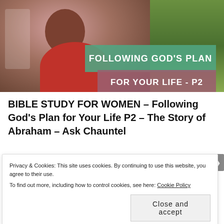[Figure (photo): Thumbnail image showing a smiling woman with braids wearing a red top on the left, and a green field on the right, with text overlays reading 'FOLLOWING GOD'S PLAN' in green and 'FOR YOUR LIFE - P2' in mauve/pink.]
BIBLE STUDY FOR WOMEN – Following God's Plan for Your Life P2 – The Story of Abraham – Ask Chauntel
Privacy & Cookies: This site uses cookies. By continuing to use this website, you agree to their use.
To find out more, including how to control cookies, see here: Cookie Policy
Close and accept